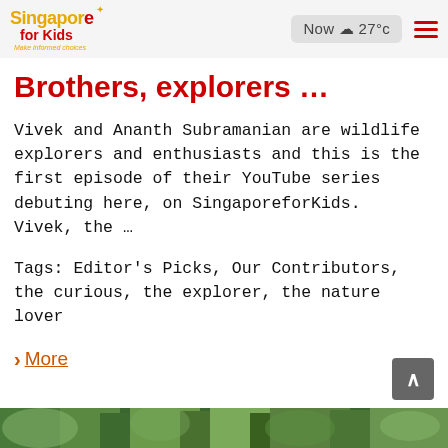Singapore for Kids — Make informed choices | Now ☁ 27°C
Brothers, explorers …
Vivek and Ananth Subramanian are wildlife explorers and enthusiasts and this is the first episode of their YouTube series debuting here, on SingaporeforKids.   Vivek, the …
Tags: Editor's Picks, Our Contributors, the curious, the explorer, the nature lover
> More
[Figure (photo): Bottom strip showing nature/vegetation scene, partially visible]